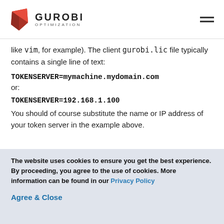GUROBI OPTIMIZATION
like vim, for example). The client gurobi.lic file typically contains a single line of text:
or:
You should of course substitute the name or IP address of your token server in the example above.
The website uses cookies to ensure you get the best experience. By proceeding, you agree to the use of cookies. More information can be found in our Privacy Policy
Agree & Close